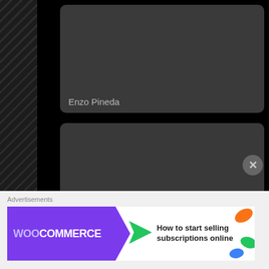[Figure (screenshot): Dark UI showing a list of person cards on left column with names Enzo Pineda, Rox Montealegre, Steven Silva, and a partial fourth card. Left side has diagonal striped pattern. Right side is solid black.]
Enzo Pineda
Rox Montealegre
Steven Silva
Advertisements
[Figure (infographic): WooCommerce advertisement banner showing purple logo with green arrow and text: How to start selling subscriptions online]